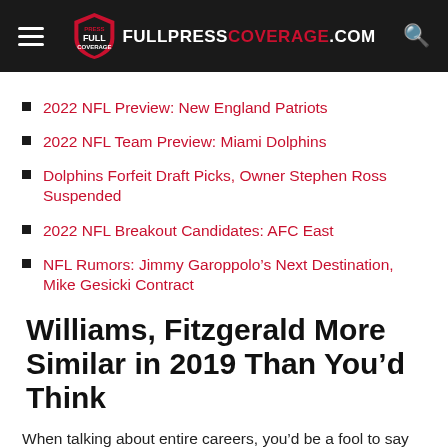FULLPRESS COVERAGE.COM
2022 NFL Preview: New England Patriots
2022 NFL Team Preview: Miami Dolphins
Dolphins Forfeit Draft Picks, Owner Stephen Ross Suspended
2022 NFL Breakout Candidates: AFC East
NFL Rumors: Jimmy Garoppolo’s Next Destination, Mike Gesicki Contract
Williams, Fitzgerald More Similar in 2019 Than You’d Think
When talking about entire careers, you’d be a fool to say you know what Williams is capable of. With his rookie